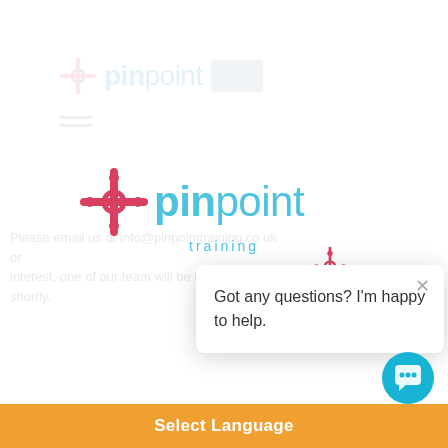[Figure (screenshot): Faded background showing a Pinpoint Training website page with logo, navigation hamburger menu, and partially visible body text]
[Figure (logo): Pinpoint Training logo — a red crosshair/pin icon beside the word 'pinpoint' in blue and 'training' in smaller blue text below]
[Figure (screenshot): Small Pinpoint Training bot icon above the chat popup bubble]
Got any questions? I'm happy to help.
[Figure (infographic): Round teal chat button icon (chat bubble with person silhouette) in the bottom right corner]
Select Language